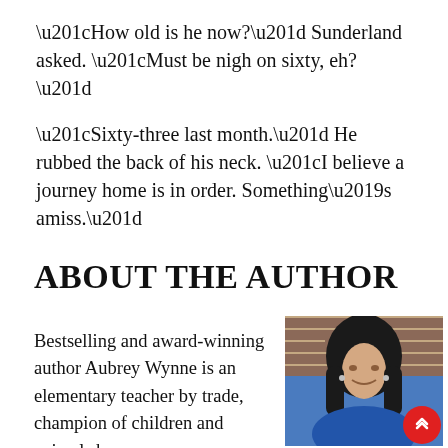“How old is he now?” Sunderland asked. “Must be nigh on sixty, eh?”
“Sixty-three last month.” He rubbed the back of his neck. “I believe a journey home is in order. Something’s amiss.”
ABOUT THE AUTHOR
Bestselling and award-winning author Aubrey Wynne is an elementary teacher by trade, champion of children and animals by
[Figure (photo): Author photo of Aubrey Wynne, a woman with dark hair wearing a blue blazer, standing in front of a brick wall background. A red scroll-up button is visible in the lower right of the photo.]